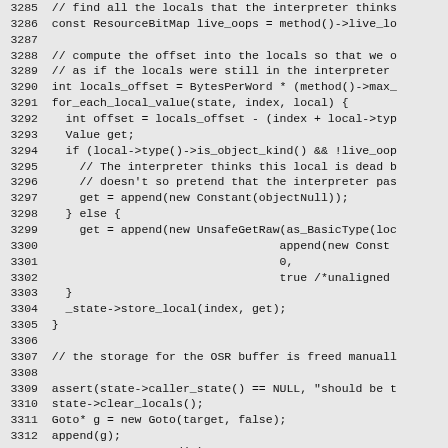Source code listing lines 3285-3314, showing C++ code for interpreter local variable handling and OSR buffer management.